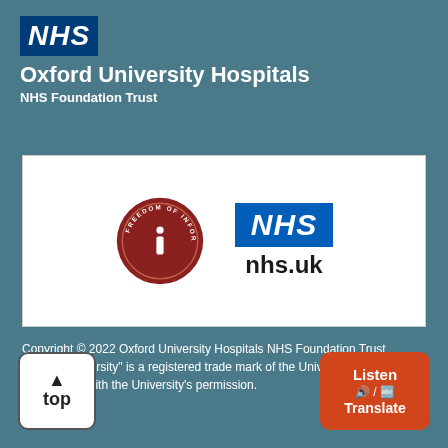[Figure (logo): NHS Oxford University Hospitals NHS Foundation Trust logo on teal background — NHS blue box with italic NHS text, followed by Organisation name and subtitle in white]
[Figure (logo): White card containing two logos: Freedom of Information circular badge on left, NHS nhs.uk logo on right]
Copyright © 2022 Oxford University Hospitals NHS Foundation Trust "Oxford University" is a registered trade mark of the University of Oxford, and is used with the University's permission.
[Figure (other): Back to top button: white rounded square with up arrow and 'top' text]
[Figure (other): Listen / Translate button: orange-red rounded rectangle with speaker icon and translation icon]